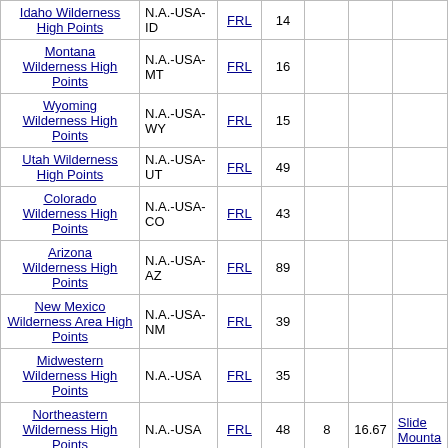| List Name | Region | FRL | Count |  |  |  |
| --- | --- | --- | --- | --- | --- | --- |
| Idaho Wilderness High Points | N.A.-USA-ID | FRL | 14 |  |  |  |
| Montana Wilderness High Points | N.A.-USA-MT | FRL | 16 |  |  |  |
| Wyoming Wilderness High Points | N.A.-USA-WY | FRL | 15 |  |  |  |
| Utah Wilderness High Points | N.A.-USA-UT | FRL | 49 |  |  |  |
| Colorado Wilderness High Points | N.A.-USA-CO | FRL | 43 |  |  |  |
| Arizona Wilderness High Points | N.A.-USA-AZ | FRL | 89 |  |  |  |
| New Mexico Wilderness Area High Points | N.A.-USA-NM | FRL | 39 |  |  |  |
| Midwestern Wilderness High Points | N.A.-USA | FRL | 35 |  |  |  |
| Northeastern Wilderness High Points | N.A.-USA | FRL | 48 | 8 | 16.67 | Slide Mountain |
| Southeastern Wilderness High Points | N.A.-USA | FRL | 64 |  |  |  |
| South-Central Wilderness High Points | N.A.-USA | FRL | 38 |  |  |  |
| Europe Land High Point Lists (section) |  |  |  |  |  |  |
| Ireland National Park High Points | Europe-Ireland | FRL | 6 |  |  |  |
| United Kingdom |  |  |  |  |  |  |